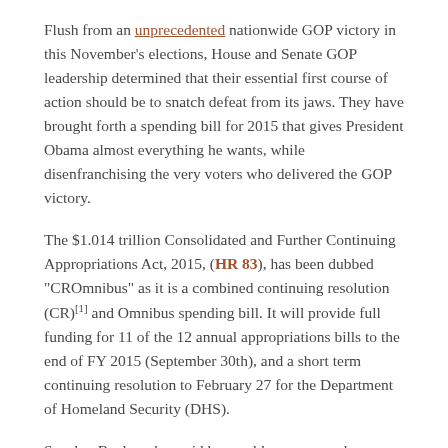Flush from an unprecedented nationwide GOP victory in this November's elections, House and Senate GOP leadership determined that their essential first course of action should be to snatch defeat from its jaws. They have brought forth a spending bill for 2015 that gives President Obama almost everything he wants, while disenfranchising the very voters who delivered the GOP victory.
The $1.014 trillion Consolidated and Further Continuing Appropriations Act, 2015, (HR 83), has been dubbed "CROmnibus" as it is a combined continuing resolution (CR)[1] and Omnibus spending bill. It will provide full funding for 11 of the 12 annual appropriations bills to the end of FY 2015 (September 30th), and a short term continuing resolution to February 27 for the Department of Homeland Security (DHS).
Speaker Boehner has said he would ensure members a minimum of 72 hours to read legislation. Instead, following former House Speaker Nancy Pelosi's innovative "pass the bill so that you can find out what's in it" policy, there will only be a